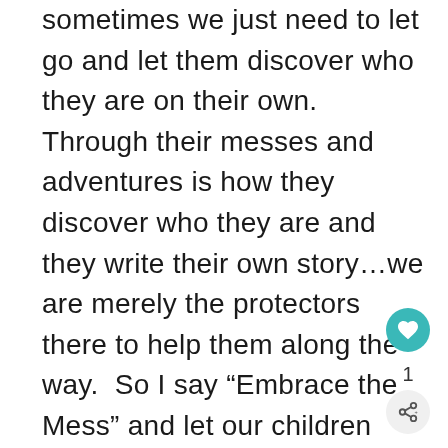sometimes we just need to let go and let them discover who they are on their own.  Through their messes and adventures is how they discover who they are and they write their own story…we are merely the protectors there to help them along the way.  So I say “Embrace the Mess” and let our children create their own….just like Blank did!
[Figure (other): A teal/cyan circular like (heart) button icon]
1
[Figure (other): A light gray circular share button icon]